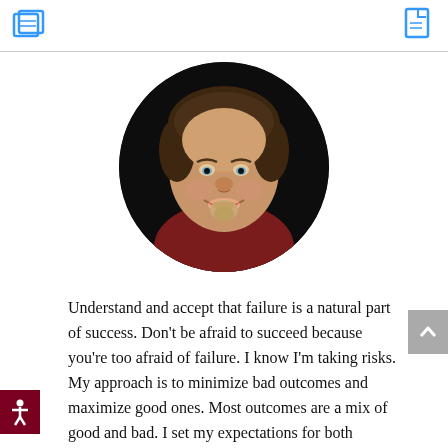[Figure (photo): Circular cropped headshot of a smiling middle-aged man with brown hair and a goatee, wearing a dark red/maroon shirt, against a dark background.]
Understand and accept that failure is a natural part of success. Don't be afraid to succeed because you're too afraid of failure. I know I'm taking risks. My approach is to minimize bad outcomes and maximize good ones. Most outcomes are a mix of good and bad. I set my expectations for both success and failure ahead of time and have learned